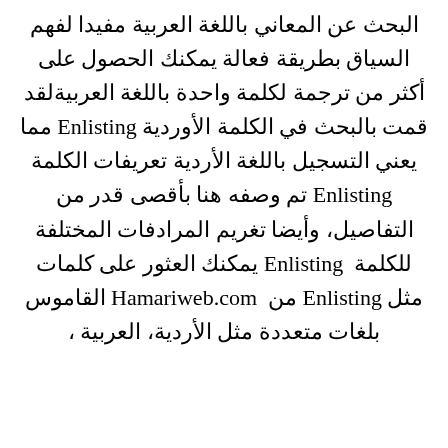البحث عن المعاني باللغة العربية مفيدا لفهم السياق بطريقة فعالة‎ يمكنك الحصول على أكثر من ترجمة لكلمة واحدة باللغة العربية‎لقد قمت بالبحث في الكلمة الأوردية Enlisting مما يعني التسجيل باللغة الأردية‎ تعريفات الكلمة Enlisting تم وصفه هنا بأقصى قدر من التفاصيل، وأيضا تغريم المرادفات المختلفة للكلمة Enlisting ‎ يمكنك العثور على كلمات مثل Enlisting من Hamariweb.com ‎ القاموس بلغات متعددة مثل الأردية، العربية ،